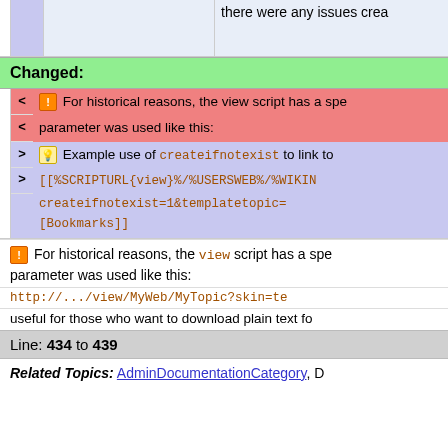|  | there were any issues crea... |
Changed:
< ⚠ For historical reasons, the view script has a spe... parameter was used like this:
> 💡 Example use of createifnotexist to link to...
> [[%SCRIPTURL{view}%/%USERSWEB%/%WIKIN... createifnotexist=1&templatetopic=... [Bookmarks]]
⚠ For historical reasons, the view script has a spe... parameter was used like this:
http://.../view/MyWeb/MyTopic?skin=te...
useful for those who want to download plain text fo...
Line: 434 to 439
Related Topics: AdminDocumentationCategory, D...